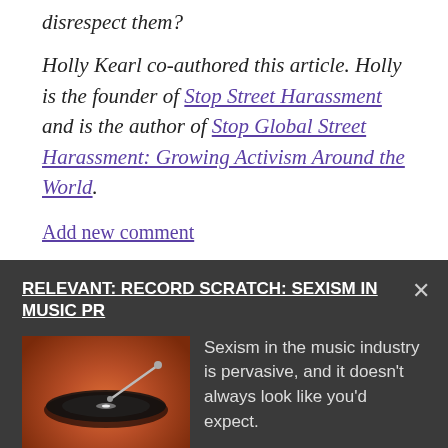disrespect them?
Holly Kearl co-authored this article. Holly is the founder of Stop Street Harassment and is the author of Stop Global Street Harassment: Growing Activism Around the World.
Add new comment
RELEVANT: RECORD SCRATCH: SEXISM IN MUSIC PR
[Figure (photo): A vinyl record on a turntable with warm orange/red lighting and a record stylus visible]
Sexism in the music industry is pervasive, and it doesn't always look like you'd expect.